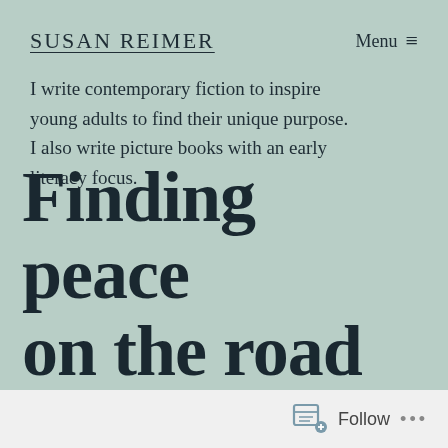SUSAN REIMER
I write contemporary fiction to inspire young adults to find their unique purpose. I also write picture books with an early literacy focus.
Finding peace on the road
Follow ...